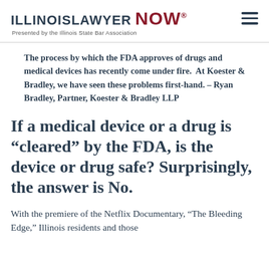ILLINOIS LAWYER NOW® Presented by the Illinois State Bar Association
The process by which the FDA approves of drugs and medical devices has recently come under fire.  At Koester & Bradley, we have seen these problems first-hand. – Ryan Bradley, Partner, Koester & Bradley LLP
If a medical device or a drug is “cleared” by the FDA, is the device or drug safe? Surprisingly, the answer is No.
With the premiere of the Netflix Documentary, “The Bleeding Edge,” Illinois residents and those